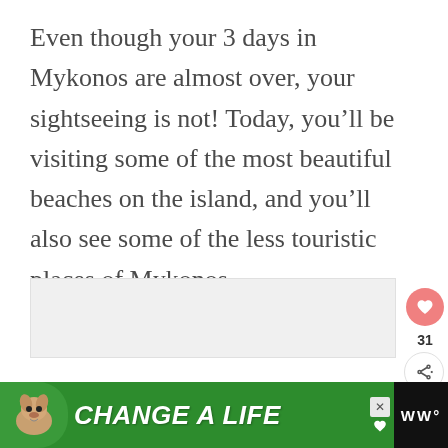Even though your 3 days in Mykonos are almost over, your sightseeing is not! Today, you’ll be visiting some of the most beautiful beaches on the island, and you’ll also see some of the less touristic places of Mykonos.
[Figure (photo): Placeholder image area, light gray background]
[Figure (infographic): Advertisement banner with dog photo and text 'CHANGE A LIFE' on green background, with close button and WW logo]